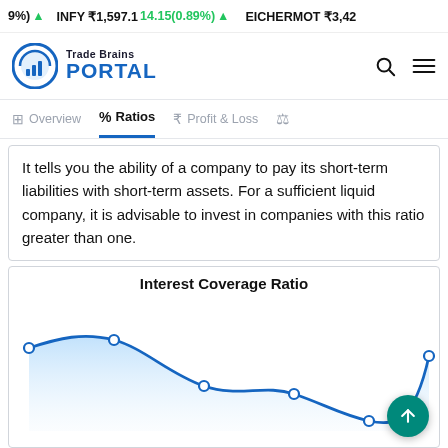9%) ▲   INFY ₹1,597.1  14.15(0.89%) ▲   EICHERMOT ₹3,42
[Figure (logo): Trade Brains Portal logo with circular chart icon and blue PORTAL text]
Overview | % Ratios | ₹ Profit & Loss | ⚖
It tells you the ability of a company to pay its short-term liabilities with short-term assets. For a sufficient liquid company, it is advisable to invest in companies with this ratio greater than one.
[Figure (line-chart): Area line chart showing Interest Coverage Ratio trend with a curve that rises, dips, recovers slightly, then falls to a minimum before rising sharply at the right end. Data points marked with small circles.]